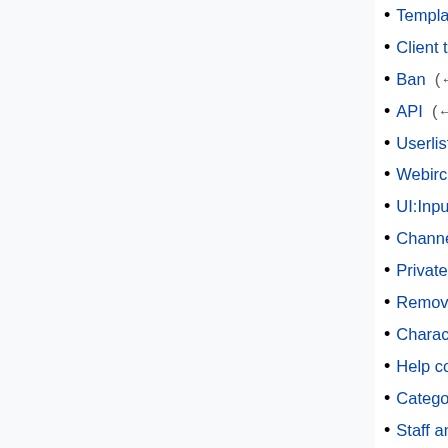Template:Articles  (← links)
Client to client protocol  (← links)
Ban  (← links)
API  (← links)
Userlist  (← links)
Webirc  (← links)
UI:Input options  (← links)
Channel Management  (← links)
Private message  (← links)
Remove chat  (← links)
Character Sets  (← links)
Help command  (← links)
Category:Commands  (← links)
Staff and Mods  (← links)
Mibbit Wiki:Contact  (← links)
Command:Kick  (← links)
Xop  (← links)
Invite  (← links)
Part  (← links)